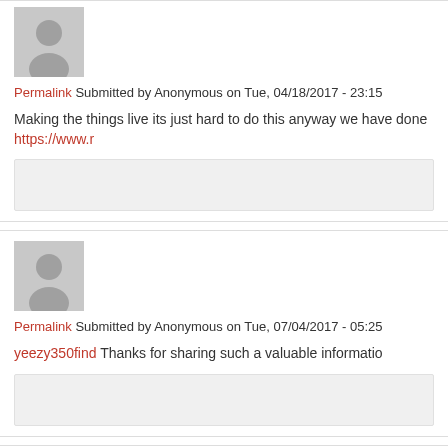[Figure (illustration): Anonymous user avatar - grey silhouette]
Permalink Submitted by Anonymous on Tue, 04/18/2017 - 23:15
Making the things live its just hard to do this anyway we have done https://www.r
[Figure (illustration): Anonymous user avatar - grey silhouette]
Permalink Submitted by Anonymous on Tue, 07/04/2017 - 05:25
yeezy350find Thanks for sharing such a valuable informatio
[Figure (illustration): Anonymous user avatar - grey silhouette]
Permalink Submitted by Anonymous on Tue, 07/04/2017 - 05:26
yeezy350find Thanks for sharing such a valuable informatio